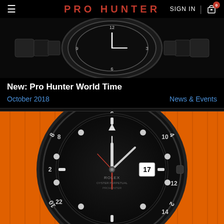PRO HUNTER | SIGN IN | Cart 0
[Figure (photo): Black DLC Rolex watch with metal bracelet, top-down view on black background]
New: Pro Hunter World Time
October 2018   News & Events
[Figure (photo): Black DLC Rolex GMT watch with orange rubber strap, close-up front view]
Pro Hunter Rubber Straps
September 2018   News & Events